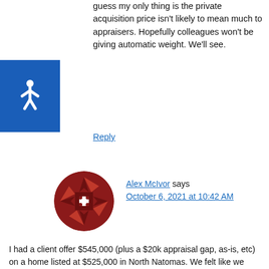guess my only thing is the private acquisition price isn’t likely to mean much to appraisers. Hopefully colleagues won’t be giving automatic weight. We’ll see.
Reply
[Figure (logo): Circular avatar icon with dark red geometric/quilt pattern design]
Alex McIvor says October 6, 2021 at 10:42 AM
I had a client offer $545,000 (plus a $20k appraisal gap, as-is, etc) on a home listed at $525,000 in North Natomas. We felt like we even offered over what the market would be as the comps put it closer to list price.
Zillow came in at $571,000. There are still no comps to support this price. Who knows maybe